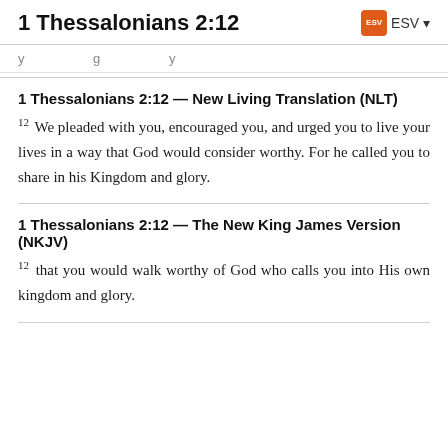1 Thessalonians 2:12  ESV
y ... g ... y
1 Thessalonians 2:12 — New Living Translation (NLT)
12 We pleaded with you, encouraged you, and urged you to live your lives in a way that God would consider worthy. For he called you to share in his Kingdom and glory.
1 Thessalonians 2:12 — The New King James Version (NKJV)
12 that you would walk worthy of God who calls you into His own kingdom and glory.